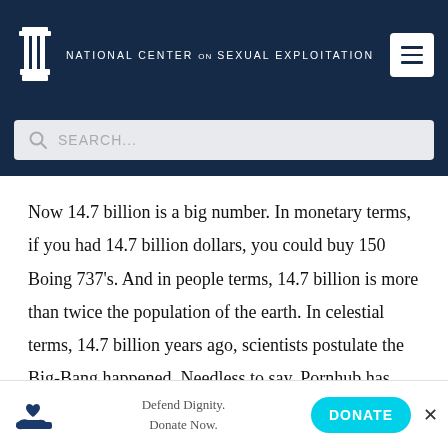NATIONAL CENTER ON SEXUAL EXPLOITATION
[Figure (screenshot): Search bar with magnifying glass icon and placeholder text SEARCH...]
Now 14.7 billion is a big number. In monetary terms, if you had 14.7 billion dollars, you could buy 150 Boing 737's. And in people terms, 14.7 billion is more than twice the population of the earth. In celestial terms, 14.7 billion years ago, scientists postulate the Big-Bang happened. Needless to say, Pornhub has created a destination for an amazing number of pornography
Defend Dignity. Donate Now.